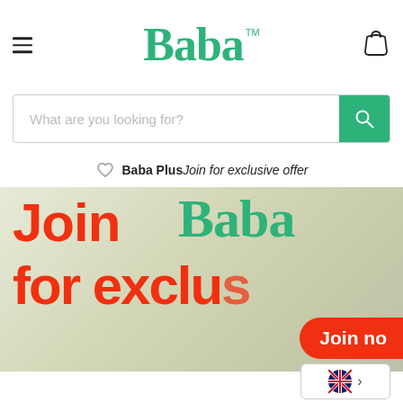[Figure (logo): Baba brand logo in green serif font with TM mark]
What are you looking for?
Baba Plus — Join for exclusive offer
[Figure (illustration): Promotional banner: 'Join Baba for exclu...' in orange and green large text on light background with 'Join no...' orange button]
[Figure (infographic): Language selector showing UK flag with arrow]